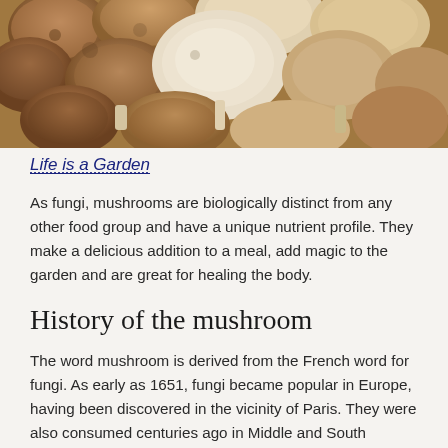[Figure (photo): Overhead photo of various mushrooms including brown button mushrooms, shiitake, and oyster mushrooms clustered together]
Life is a Garden
As fungi, mushrooms are biologically distinct from any other food group and have a unique nutrient profile. They make a delicious addition to a meal, add magic to the garden and are great for healing the body.
History of the mushroom
The word mushroom is derived from the French word for fungi. As early as 1651, fungi became popular in Europe, having been discovered in the vicinity of Paris. They were also consumed centuries ago in Middle and South America. Finally, in 1707, the first controlled cultivation of edible fungi in the vegetable garden was completed, and